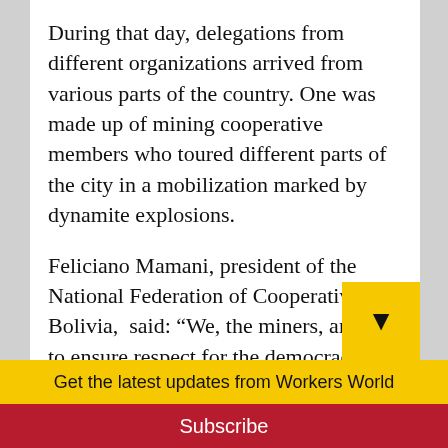During that day, delegations from different organizations arrived from various parts of the country. One was made up of mining cooperative members who toured different parts of the city in a mobilization marked by dynamite explosions.
Feliciano Mamani, president of the National Federation of Cooperatives of Bolivia,  said: “We, the miners, are here to ensure respect for the democracy that has been won through struggle.
Get the latest updates from Workers World
Email address
Subscribe